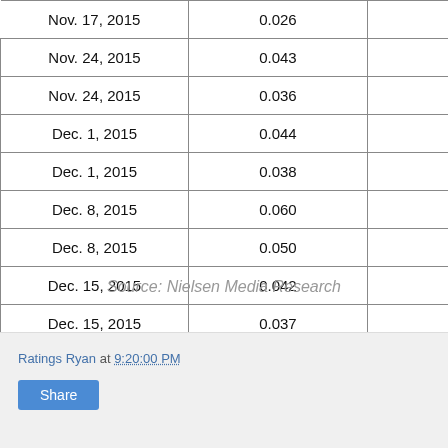| Date | Value |  |
| --- | --- | --- |
| Nov. 17, 2015 | 0.026 |  |
| Nov. 24, 2015 | 0.043 |  |
| Nov. 24, 2015 | 0.036 |  |
| Dec. 1, 2015 | 0.044 |  |
| Dec. 1, 2015 | 0.038 |  |
| Dec. 8, 2015 | 0.060 |  |
| Dec. 8, 2015 | 0.050 |  |
| Dec. 15, 2015 | 0.042 |  |
| Dec. 15, 2015 | 0.037 |  |
| Dec. 22, 2015 | 0.100 |  |
| Dec. 22, 2015 | 0.080 |  |
| Dec. 29, 2015 | 0.110 |  |
| Average | 0.051 |  |
Source: Nielsen Media Research
Ratings Ryan at 9:20:00 PM
Share